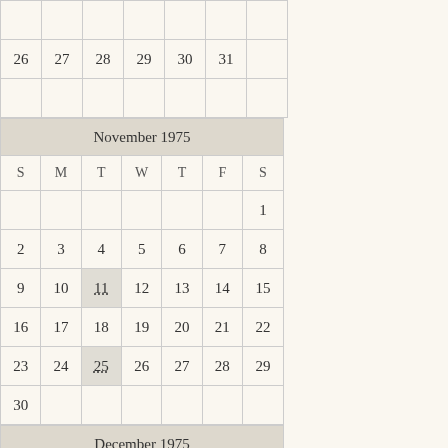| S | M | T | W | T | F | S |
| --- | --- | --- | --- | --- | --- | --- |
| 26 | 27 | 28 | 29 | 30 | 31 |  |
|  |  |  |  |  |  |  |
| S | M | T | W | T | F | S |
| --- | --- | --- | --- | --- | --- | --- |
|  |  |  |  |  |  | 1 |
| 2 | 3 | 4 | 5 | 6 | 7 | 8 |
| 9 | 10 | 11 | 12 | 13 | 14 | 15 |
| 16 | 17 | 18 | 19 | 20 | 21 | 22 |
| 23 | 24 | 25 | 26 | 27 | 28 | 29 |
| 30 |  |  |  |  |  |  |
| S | M | T | W | T | F | S |
| --- | --- | --- | --- | --- | --- | --- |
|  | 1 | 2 | 3 | 4 | 5 | 6 |
| 7 | 8 | 9 | 10 | 11 | 12 | 13 |